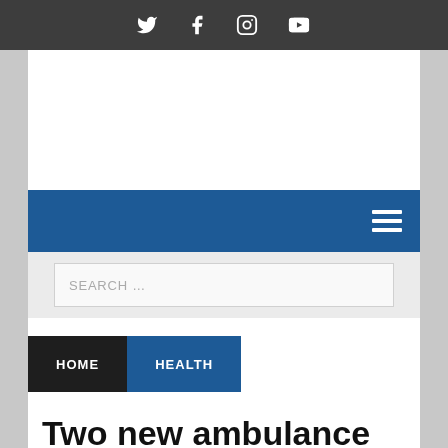Social media icons: Twitter, Facebook, Instagram, YouTube
[Figure (screenshot): Website navigation screenshot with blue nav bar with hamburger menu, search bar, breadcrumb HOME > HEALTH, and article title beginning 'Two new ambulance stations for Central Coast']